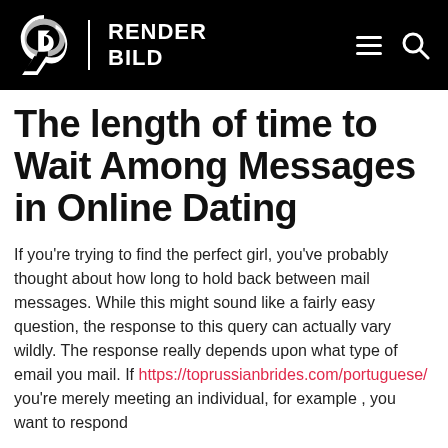RENDER BILD
The length of time to Wait Among Messages in Online Dating
If you're trying to find the perfect girl, you've probably thought about how long to hold back between mail messages. While this might sound like a fairly easy question, the response to this query can actually vary wildly. The response really depends upon what type of email you mail. If https://toprussianbrides.com/portuguese/ you're merely meeting an individual, for example , you want to respond